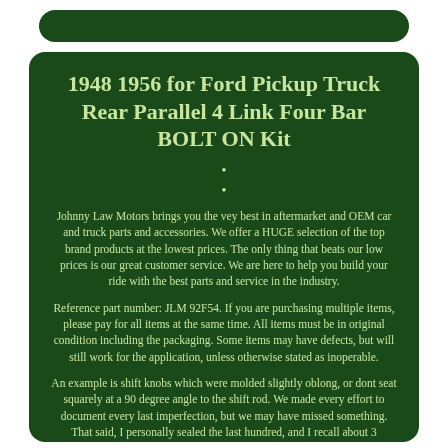1948 1956 for Ford Pickup Truck Rear Parallel 4 Link Four Bar BOLT ON Kit
•
•
Johnny Law Motors brings you the vey best in aftermarket and OEM car and truck parts and accessories. We offer a HUGE selection of the top brand products at the lowest prices. The only thing that beats our low prices is our great customer service. We are here to help you build your ride with the best parts and service in the industry.
Reference part number: JLM 92F54. If you are purchasing multiple items, please pay for all items at the same time. All items must be in original condition including the packaging. Some items may have defects, but will still work for the application, unless otherwise stated as inoperable.
An example is shift knobs which were molded slightly oblong, or dont seat squarely at a 90 degree angle to the shift rod. We made every effort to document every last imperfection, but we may have missed something. That said, I personally sealed the last hundred, and I recall about 3